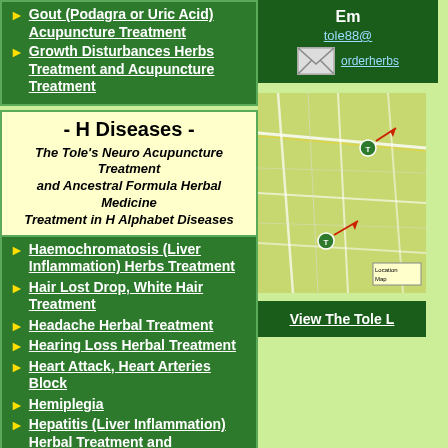Gout (Podagra or Uric Acid) Acupuncture Treatment
Growth Disturbances Herbs Treatment and Acupuncture Treatment
- H Diseases -
The Tole's Neuro Acupuncture Treatment and Ancestral Formula Herbal Medicine Treatment in H Alphabet Diseases
Haemochromatosis (Liver Inflammation) Herbs Treatment
Hair Lost Drop, White Hair Treatment
Headache Herbal Treatment
Hearing Loss Herbal Treatment
Heart Attack, Heart Arteries Block
Hemiplegia
Hepatitis (Liver Inflammation) Herbal Treatment and Acupuncture Treatment
Hepatitis B (Liver Inflammation) Herbal Treatment
Hepatitis C (Liver Inflammation) Herbal Treatment
Herbal Medicine Treatment for A-Z Diseases
Em
tole88@
orderherbs
[Figure (map): Street map showing The Tole clinic location with arrows]
View The Tole L